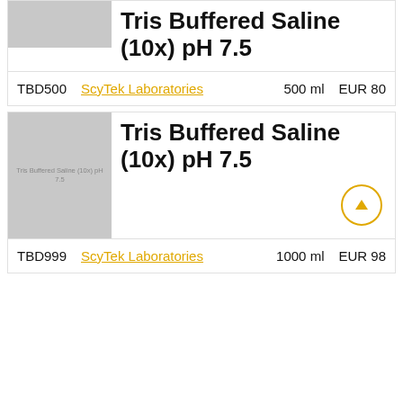[Figure (other): Gray placeholder thumbnail for product image (top card, cropped at top)]
Tris Buffered Saline (10x) pH 7.5
| Product ID | Vendor | Size | Price |
| --- | --- | --- | --- |
| TBD500 | ScyTek Laboratories | 500 ml | EUR 80 |
[Figure (photo): Gray placeholder thumbnail for Tris Buffered Saline (10x) pH 7.5 product image]
Tris Buffered Saline (10x) pH 7.5
| Product ID | Vendor | Size | Price |
| --- | --- | --- | --- |
| TBD999 | ScyTek Laboratories | 1000 ml | EUR 98 |